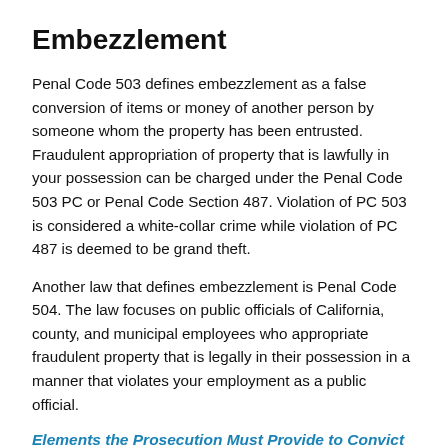Embezzlement
Penal Code 503 defines embezzlement as a false conversion of items or money of another person by someone whom the property has been entrusted. Fraudulent appropriation of property that is lawfully in your possession can be charged under the Penal Code 503 PC or Penal Code Section 487. Violation of PC 503 is considered a white-collar crime while violation of PC 487 is deemed to be grand theft.
Another law that defines embezzlement is Penal Code 504. The law focuses on public officials of California, county, and municipal employees who appropriate fraudulent property that is legally in their possession in a manner that violates your employment as a public official.
Elements the Prosecution Must Provide to Convict the Defendant
The defendant has a relationship with the victim.